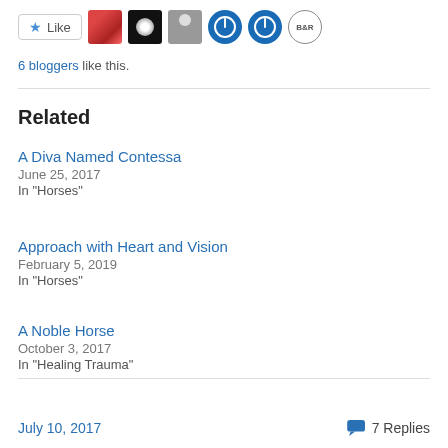[Figure (other): Like button with star icon and 6 blogger avatar thumbnails]
6 bloggers like this.
Related
A Diva Named Contessa
June 25, 2017
In "Horses"
Approach with Heart and Vision
February 5, 2019
In "Horses"
A Noble Horse
October 3, 2017
In "Healing Trauma"
July 10, 2017    7 Replies